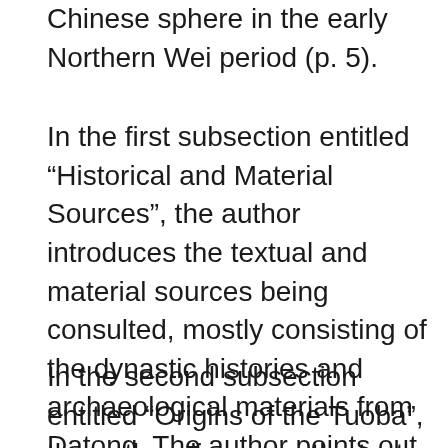Chinese sphere in the early Northern Wei period (p. 5).
In the first subsection entitled “Historical and Material Sources”, the author introduces the textual and material sources being consulted, mostly consisting of the dynastic histories and archaeological materials from Datong. The author points out the problems related to the existent archaeological work and the use of concepts as “Sinicization”, “remains”, “cultures” or the designation of “foreign objects” in archaeological reports.
In the second subsection entitled “Origins of the Tuoba”, the author discusses the text based approach of Ma Changshou (Ma Changshou 馬長壽.